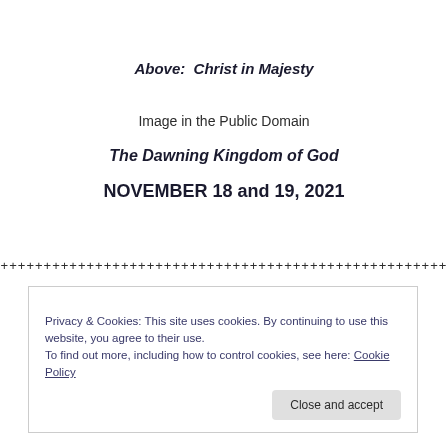Above:  Christ in Majesty
Image in the Public Domain
The Dawning Kingdom of God
NOVEMBER 18 and 19, 2021
++++++++++++++++++++++++++++++++++++++++++++++++++++
Privacy & Cookies: This site uses cookies. By continuing to use this website, you agree to their use.
To find out more, including how to control cookies, see here: Cookie Policy
Close and accept